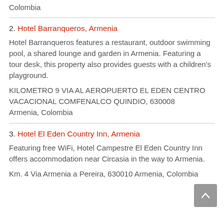Colombia
2. Hotel Barranqueros, Armenia
Hotel Barranqueros features a restaurant, outdoor swimming pool, a shared lounge and garden in Armenia. Featuring a tour desk, this property also provides guests with a children’s playground.
KILOMETRO 9 VIA AL AEROPUERTO EL EDEN CENTRO VACACIONAL COMFENALCO QUINDIO, 630008 Armenia, Colombia
3. Hotel El Eden Country Inn, Armenia
Featuring free WiFi, Hotel Campestre El Eden Country Inn offers accommodation near Circasia in the way to Armenia.
Km. 4 Via Armenia a Pereira, 630010 Armenia, Colombia